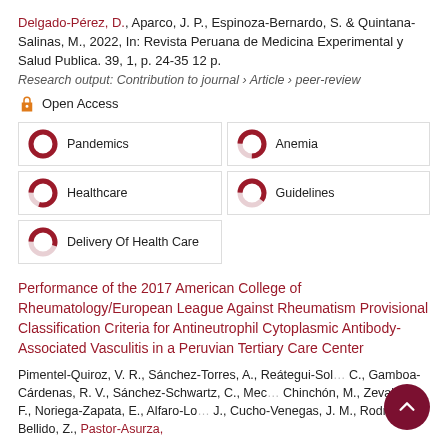Delgado-Pérez, D., Aparco, J. P., Espinoza-Bernardo, S. & Quintana-Salinas, M., 2022, In: Revista Peruana de Medicina Experimental y Salud Publica. 39, 1, p. 24-35 12 p.
Research output: Contribution to journal › Article › peer-review
Open Access
[Figure (infographic): Five keyword badges with donut-chart style fill indicators: Pandemics (100%), Anemia (75%), Healthcare (80%), Guidelines (60%), Delivery Of Health Care (55%)]
Performance of the 2017 American College of Rheumatology/European League Against Rheumatism Provisional Classification Criteria for Antineutrophil Cytoplasmic Antibody-Associated Vasculitis in a Peruvian Tertiary Care Center
Pimentel-Quiroz, V. R., Sánchez-Torres, A., Reátegui-Sol, C., Gamboa-Cárdenas, R. V., Sánchez-Schwartz, C., Mec… Chinchón, M., Zevallos, F., Noriega-Zapata, E., Alfaro-Lo… J., Cucho-Venegas, J. M., Rodríguez-Bellido, Z., Pastor-Asurza,